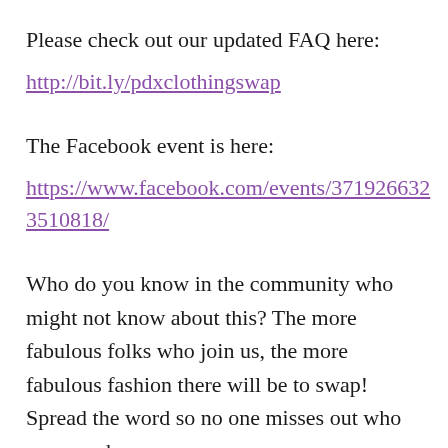Please check out our updated FAQ here:
http://bit.ly/pdxclothingswap
The Facebook event is here:
https://www.facebook.com/events/371926323510818/
Who do you know in the community who might not know about this? The more fabulous folks who join us, the more fabulous fashion there will be to swap! Spread the word so no one misses out who may need